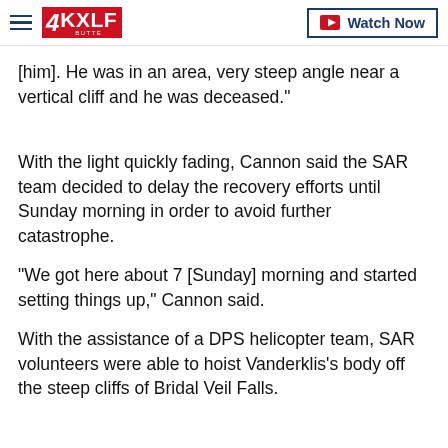4KXLF | Watch Now
[him]. He was in an area, very steep angle near a vertical cliff and he was deceased."
With the light quickly fading, Cannon said the SAR team decided to delay the recovery efforts until Sunday morning in order to avoid further catastrophe.
"We got here about 7 [Sunday] morning and started setting things up," Cannon said.
With the assistance of a DPS helicopter team, SAR volunteers were able to hoist Vanderklis's body off the steep cliffs of Bridal Veil Falls.